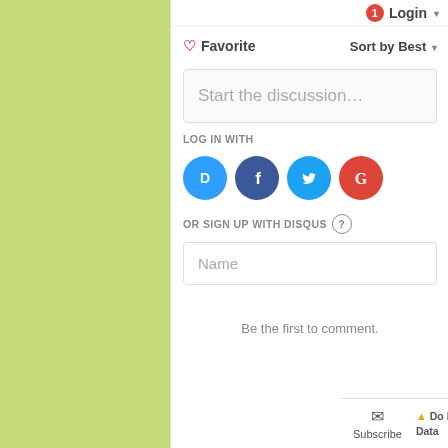[Figure (screenshot): Disqus comment widget screenshot showing login button, favorite, sort by best, discussion input, social login icons (Disqus, Facebook, Twitter, Google), sign up with Disqus form, name field, 'Be the first to comment' message, and footer with subscribe, do not sell my data, and DISQUS logo.]
Login
♡ Favorite
Sort by Best
Start the discussion…
LOG IN WITH
OR SIGN UP WITH DISQUS ?
Name
Be the first to comment.
Subscribe
Do Not Sell My Data
DISQUS